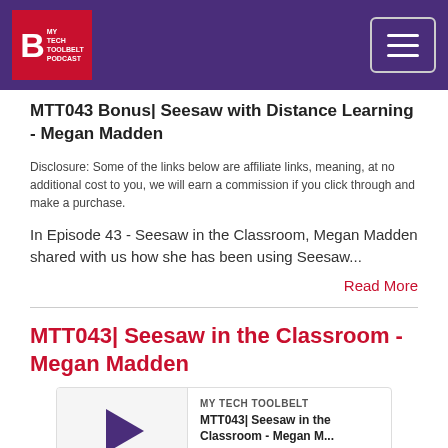My Tech Toolbelt Podcast - navigation header
MTT043 Bonus| Seesaw with Distance Learning - Megan Madden
Disclosure: Some of the links below are affiliate links, meaning, at no additional cost to you, we will earn a commission if you click through and make a purchase.
In Episode 43 - Seesaw in the Classroom, Megan Madden shared with us how she has been using Seesaw...
Read More
MTT043| Seesaw in the Classroom - Megan Madden
[Figure (other): Podcast audio player for MTT043| Seesaw in the Classroom - Megan Madden by My Tech Toolbelt, showing play button, episode title, progress bar, and playback controls including timestamp 00:00:00, subscribe, download, embed, and share buttons.]